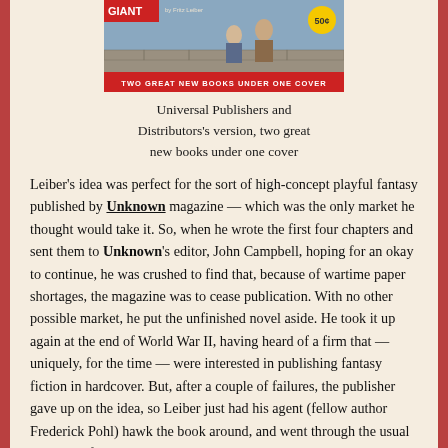[Figure (photo): Book cover image showing two people, with text 'GIANT' and banner reading 'TWO GREAT NEW BOOKS UNDER ONE COVER' with price '50¢']
Universal Publishers and Distributors's version, two great new books under one cover
Leiber's idea was perfect for the sort of high-concept playful fantasy published by Unknown magazine — which was the only market he thought would take it. So, when he wrote the first four chapters and sent them to Unknown's editor, John Campbell, hoping for an okay to continue, he was crushed to find that, because of wartime paper shortages, the magazine was to cease publication. With no other possible market, he put the unfinished novel aside. He took it up again at the end of World War II, having heard of a firm that — uniquely, for the time — were interested in publishing fantasy fiction in hardcover. But, after a couple of failures, the publisher gave up on the idea, so Leiber just had his agent (fellow author Frederick Pohl) hawk the book around, and went through the usual business of